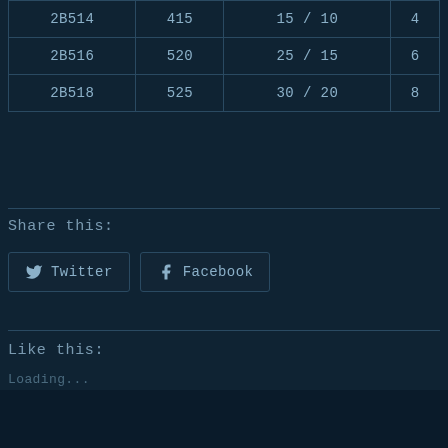| 2B514 | 415 | 15 / 10 | 4 |
| 2B516 | 520 | 25 / 15 | 6 |
| 2B518 | 525 | 30 / 20 | 8 |
Share this:
Twitter
Facebook
Like this:
Loading...